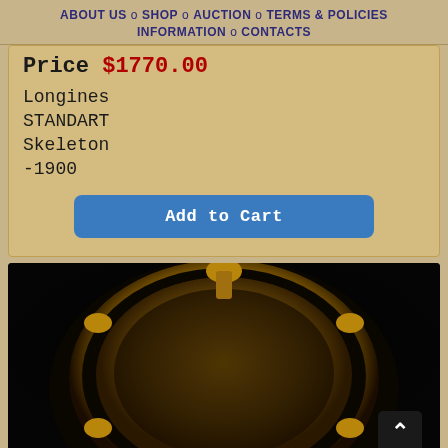ABOUT US o SHOP o AUCTION o TERMS & POLICIES INFORMATION o CONTACTS
Price $1770.00
Longines
STANDART
Skeleton
-1900
Add to Cart
[Figure (photo): Close-up photograph of a Longines Standart Skeleton pocket watch circa 1900, showing an ornate gold case with decorative bezel and visible mechanical skeleton movement with zodiac-style symbols on a dark background]